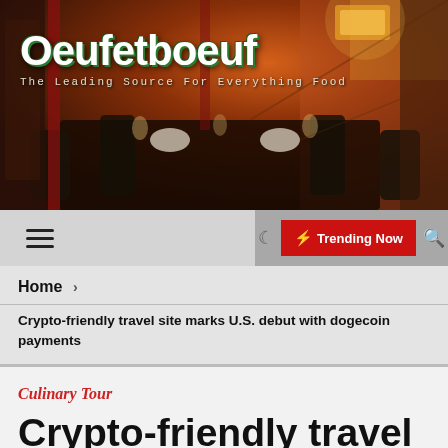[Figure (photo): Restaurant interior with dark wood furniture, a long dining table set for dinner with wine glasses, warm amber lighting from overhead fixtures, and decorative red panels along the walls. The Oeufetboeuf logo and tagline overlay the image.]
Oeufetboeuf — The Leading Source For Everything Food
☰ ☾ ⚡ Trending Now 🔍
Home >
Crypto-friendly travel site marks U.S. debut with dogecoin payments
Culinary Tour
Crypto-friendly travel site